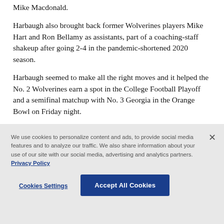Mike Macdonald.
Harbaugh also brought back former Wolverines players Mike Hart and Ron Bellamy as assistants, part of a coaching-staff shakeup after going 2-4 in the pandemic-shortened 2020 season.
Harbaugh seemed to make all the right moves and it helped the No. 2 Wolverines earn a spot in the College Football Playoff and a semifinal matchup with No. 3 Georgia in the Orange Bowl on Friday night.
We use cookies to personalize content and ads, to provide social media features and to analyze our traffic. We also share information about your use of our site with our social media, advertising and analytics partners. Privacy Policy
Cookies Settings
Accept All Cookies